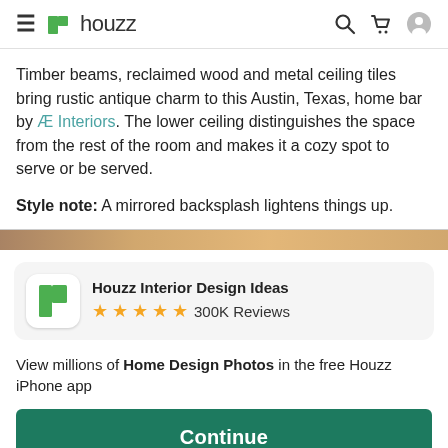≡ h houzz [search] [cart] [user]
Timber beams, reclaimed wood and metal ceiling tiles bring rustic antique charm to this Austin, Texas, home bar by ÆInteriors. The lower ceiling distinguishes the space from the rest of the room and makes it a cozy spot to serve or be served.
Style note: A mirrored backsplash lightens things up.
Houzz Interior Design Ideas ★★★★★ 300K Reviews
View millions of Home Design Photos in the free Houzz iPhone app
Continue
Go to Mobile Site